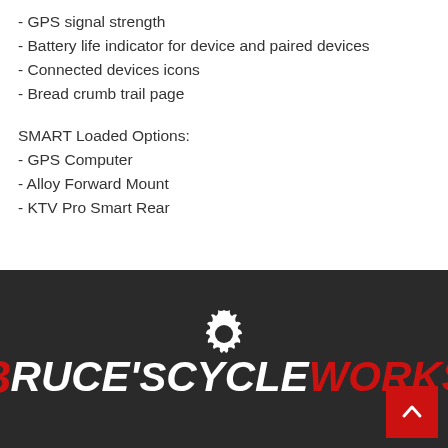- GPS signal strength
- Battery life indicator for device and paired devices
- Connected devices icons
- Bread crumb trail page
SMART Loaded Options:
- GPS Computer
- Alloy Forward Mount
- KTV Pro Smart Rear
[Figure (logo): Bruce's Cycleworks logo with gear icon on dark background]